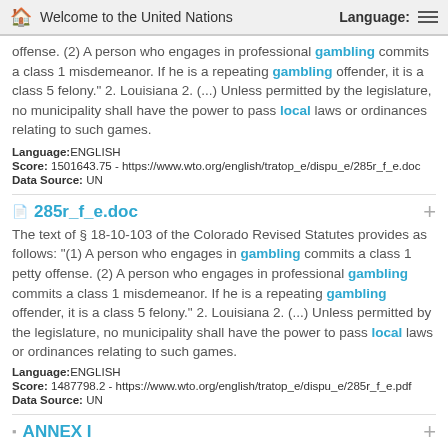Welcome to the United Nations   Language:
offense. (2) A person who engages in professional gambling commits a class 1 misdemeanor. If he is a repeating gambling offender, it is a class 5 felony." 2. Louisiana 2. (...) Unless permitted by the legislature, no municipality shall have the power to pass local laws or ordinances relating to such games.
Language:ENGLISH
Score: 1501643.75 - https://www.wto.org/english/tratop_e/dispu_e/285r_f_e.doc
Data Source: UN
285r_f_e.doc
The text of § 18-10-103 of the Colorado Revised Statutes provides as follows: "(1) A person who engages in gambling commits a class 1 petty offense. (2) A person who engages in professional gambling commits a class 1 misdemeanor. If he is a repeating gambling offender, it is a class 5 felony." 2. Louisiana 2. (...) Unless permitted by the legislature, no municipality shall have the power to pass local laws or ordinances relating to such games.
Language:ENGLISH
Score: 1487798.2 - https://www.wto.org/english/tratop_e/dispu_e/285r_f_e.pdf
Data Source: UN
ANNEX I
On 13 March 2003, Antigua and Barbuda requested consultations with the